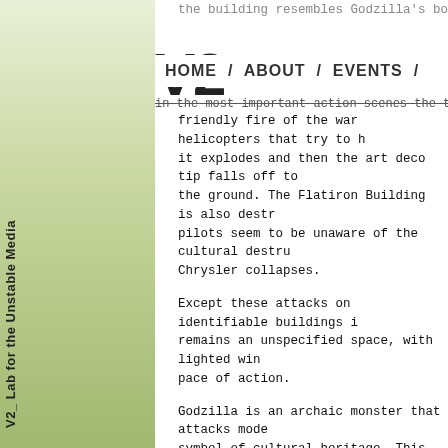the building resembles Godzilla's body shape.
HOME / ABOUT / EVENTS /
in the most important action scenes the top of t
friendly fire of the war helicopters that try to h it explodes and then the art deco tip falls off to the ground. The Flatiron Building is also destr pilots seem to be unaware of the cultural destru Chrysler collapses.
Except these attacks on identifiable buildings i remains an unspecified space, with lighted win pace of action.
Godzilla is an archaic monster that attacks mode symbol of cultural heritage. This is done by sor
Armageddon
A worldwide destruction through asteroids espec are interesting to look at. New York represents t heritage, culturally marked city.
The film begins with the view on Manhattan fr
Again the Chrysler Building is hit by destructi